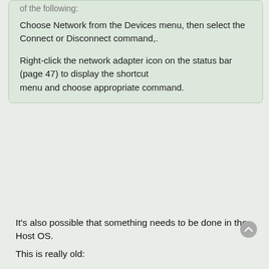of the following:
Choose Network from the Devices menu, then select the Connect or Disconnect command,.
Right-click the network adapter icon on the status bar (page 47) to display the shortcut menu and choose appropriate command.
It's also possible that something needs to be done in the Host OS.
This is really old:
https://forum.parallels.com/threads/net ... s-98.3807/
I'd try just enabling it in Parallels first.
FLATFOOT_57